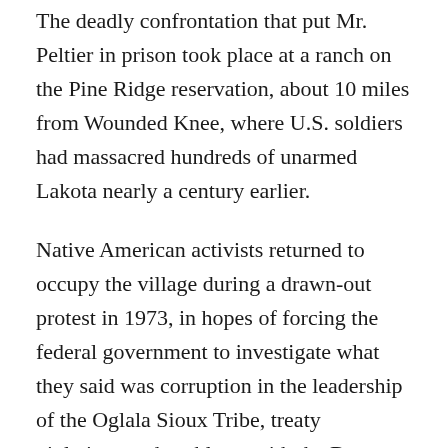The deadly confrontation that put Mr. Peltier in prison took place at a ranch on the Pine Ridge reservation, about 10 miles from Wounded Knee, where U.S. soldiers had massacred hundreds of unarmed Lakota nearly a century earlier.
Native American activists returned to occupy the village during a drawn-out protest in 1973, in hopes of forcing the federal government to investigate what they said was corruption in the leadership of the Oglala Sioux Tribe, treaty violations and problems with the Bureau of Indian Affairs.
Two F.B.I. agents, Jack Coler and Ronald Williams, died in the shootout. One of the activists was also